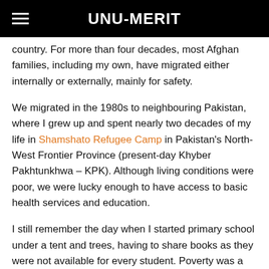UNU-MERIT
country. For more than four decades, most Afghan families, including my own, have migrated either internally or externally, mainly for safety.
We migrated in the 1980s to neighbouring Pakistan, where I grew up and spent nearly two decades of my life in Shamshato Refugee Camp in Pakistan's North-West Frontier Province (present-day Khyber Pakhtunkhwa – KPK). Although living conditions were poor, we were lucky enough to have access to basic health services and education.
I still remember the day when I started primary school under a tent and trees, having to share books as they were not available for every student. Poverty was a major issue for my family, so as well as school I also worked in a carpet weaving factory inside the refugee camp.